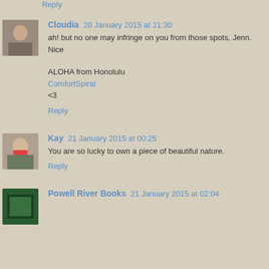Reply
Cloudia 20 January 2015 at 21:30
ah! but no one may infringe on you from those spots, Jenn. Nice
ALOHA from Honolulu
ComfortSpiral
<3
Reply
Kay 21 January 2015 at 00:25
You are so lucky to own a piece of beautiful nature.
Reply
Powell River Books 21 January 2015 at 02:04